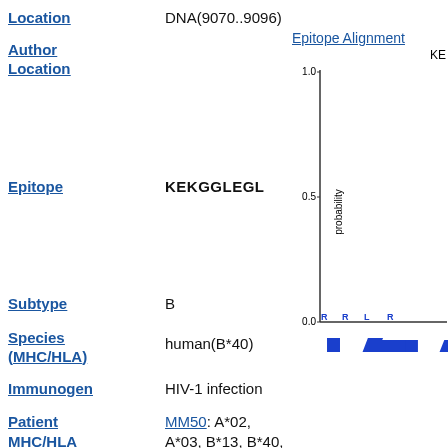Location    DNA(9070..9096)
Author Location
Epitope Alignment
[Figure (continuous-plot): Sequence logo / epitope alignment chart showing probability (y-axis 0.0 to 1.0) for epitope KEKGGLEGL. Large blue letters K, E, K and green letter G visible, with small letters at bottom near 0.0.]
Epitope    KEKGGLEGL
Subtype    B
Species (MHC/HLA)    human(B*40)
Immunogen    HIV-1 infection
Patient MHC/HLA    MM50: A*02, A*03, B*13, B*40, C*03, C*06,